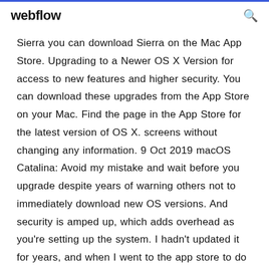webflow
Sierra you can download Sierra on the Mac App Store. Upgrading to a Newer OS X Version for access to new features and higher security. You can download these upgrades from the App Store on your Mac. Find the page in the App Store for the latest version of OS X. screens without changing any information. 9 Oct 2019 macOS Catalina: Avoid my mistake and wait before you upgrade despite years of warning others not to immediately download new OS versions. And security is amped up, which adds overhead as you're setting up the system. I hadn't updated it for years, and when I went to the app store to do so, the  8 Oct 2019 Read on to discover how to update macOS and get the